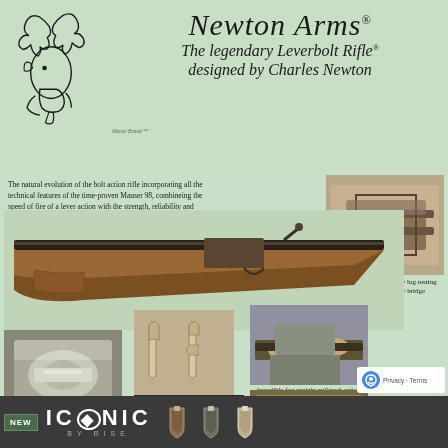[Figure (logo): Newton Arms moose head logo (black line drawing) with 'Moose Brand' trademark label below]
Newton Arms
The legendary Leverbolt Rifle®
designed by Charles Newton
The natural evolution of the bolt action rifle incorporating all the technical features of the time-proven Mauser 98, combineing the speed of fire of a lever action with the strength, reliability and beautiful lines of the classic Mauser Oberndorf bolt action sporter.
© Newton Arms/Belgium
[Figure (photo): Close-up photo of the massive 3rd safety lug resting against the receiver bridge]
The massive 3rd savety lug resting against the receiver bridge
[Figure (photo): Full-length photo of the Newton Leverbolt Rifle with wooden stock]
[Figure (photo): Close-up photo of the left lug of the Newton showing no ejector slot]
The left lug of the Newton is not weakened by an ejector slot like the Mauser.
[Figure (photo): Photo comparing reinforced extractor blade of the Newton (left) to Mauser 98 extractor (right)]
Reinforced extractor blade of the Newton (left) compared to Mauser 98 extractor (right).
[Figure (photo): Person demonstrating the incredibly fast straight-pull/push action of the Newton rifle]
Incredibly fast straight-pull/push action.
[Figure (photo): Close-up of rifle bottom detail]
[Figure (photo): Close-up detail of rifle mechanism]
[Figure (logo): ICONIC by RISE logo with trigger mechanism icons]
[Figure (logo): reCAPTCHA privacy badge with Privacy and Terms links]